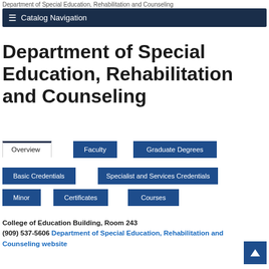Department of Special Education, Rehabilitation and Counseling
≡ Catalog Navigation
Department of Special Education, Rehabilitation and Counseling
Overview
Faculty
Graduate Degrees
Basic Credentials
Specialist and Services Credentials
Minor
Certificates
Courses
College of Education Building, Room 243
(909) 537-5606 Department of Special Education, Rehabilitation and Counseling website